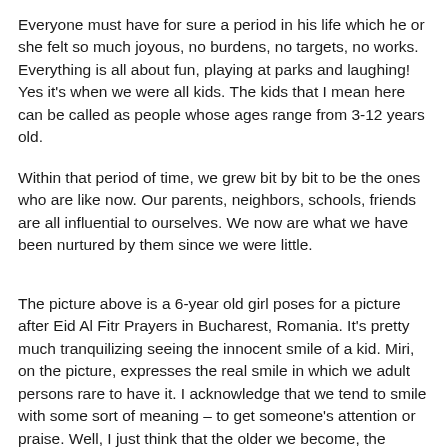Everyone must have for sure a period in his life which he or she felt so much joyous, no burdens, no targets, no works. Everything is all about fun, playing at parks and laughing! Yes it's when we were all kids. The kids that I mean here can be called as people whose ages range from 3-12 years old.
Within that period of time, we grew bit by bit to be the ones who are like now. Our parents, neighbors, schools, friends are all influential to ourselves. We now are what we have been nurtured by them since we were little.
The picture above is a 6-year old girl poses for a picture after Eid Al Fitr Prayers in Bucharest, Romania. It's pretty much tranquilizing seeing the innocent smile of a kid. Miri, on the picture, expresses the real smile in which we adult persons rare to have it. I acknowledge that we tend to smile with some sort of meaning – to get someone's attention or praise. Well, I just think that the older we become, the harder we feel to live as what we are supposed to be. Lots of artificial things we make in our daily life, moreover before the public. But they, kids, they can never lie to us. Or at least we